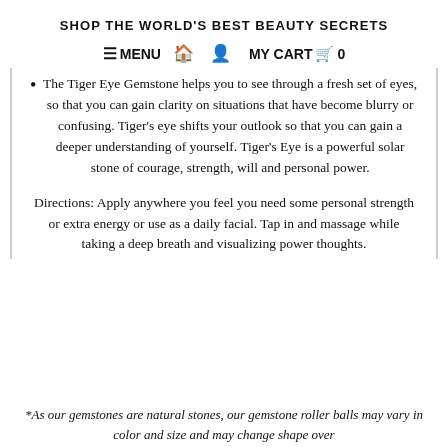SHOP THE WORLD'S BEST BEAUTY SECRETS
≡ MENU 🏠 👤 MY CART 🛒 0
The Tiger Eye Gemstone helps you to see through a fresh set of eyes, so that you can gain clarity on situations that have become blurry or confusing. Tiger's eye shifts your outlook so that you can gain a deeper understanding of yourself. Tiger's Eye is a powerful solar stone of courage, strength, will and personal power.
Directions: Apply anywhere you feel you need some personal strength or extra energy or use as a daily facial. Tap in and massage while taking a deep breath and visualizing power thoughts.
*As our gemstones are natural stones, our gemstone roller balls may vary in color and size and may change shape over